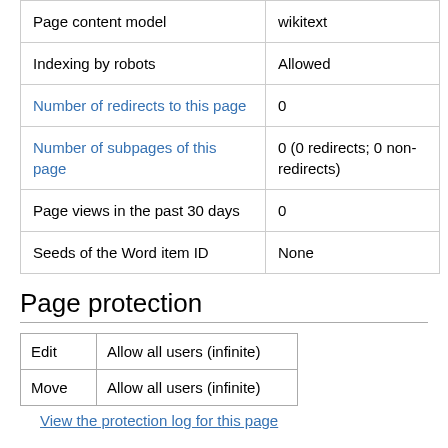|  |  |
| --- | --- |
| Page content model | wikitext |
| Indexing by robots | Allowed |
| Number of redirects to this page | 0 |
| Number of subpages of this page | 0 (0 redirects; 0 non-redirects) |
| Page views in the past 30 days | 0 |
| Seeds of the Word item ID | None |
Page protection
|  |  |
| --- | --- |
| Edit | Allow all users (infinite) |
| Move | Allow all users (infinite) |
View the protection log for this page